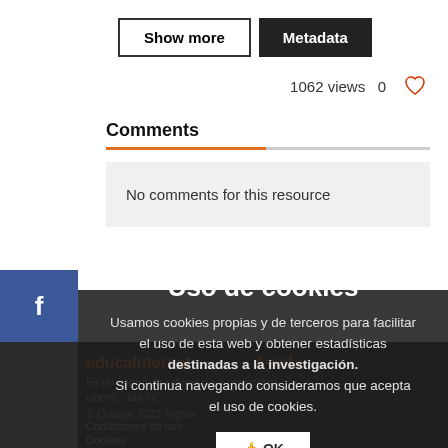Show more | Metadata
1062 views  0
Comments
No comments for this resource
[Figure (screenshot): Social media sidebar with Facebook, Twitter, YouTube, and grid icons]
educaInternet  Ayuda  Es un centro de referencia... Orange 2022 Rights  Condiciones de uso  Cookies  Contacto
Uso de cookies
Usamos cookies propias y de terceros para facilitar el uso de esta web y obtener estadísticas destinadas a la investigación.
Si continua navegando consideramos que acepta el uso de cookies.
OK